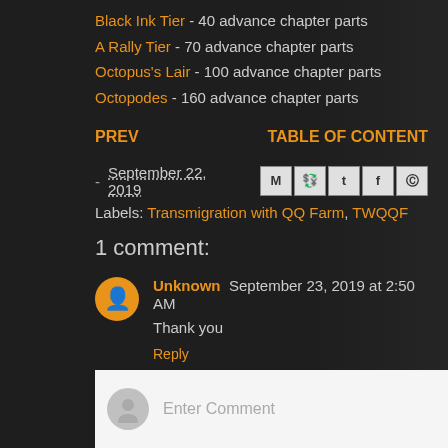Black Ink Tier - 40 advance chapter parts
A Rally Tier - 70 advance chapter parts
Octopus's Lair - 100 advance chapter parts
Octopodes - 160 advance chapter parts
PREV    TABLE OF CONTENT
- September 22, 2019
Labels: Transmigration with QQ Farm, TWQQF
1 comment:
Unknown September 23, 2019 at 2:50 AM
Thank you
Reply
Enter Comment